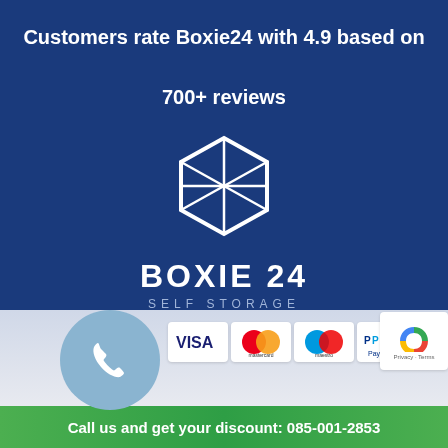Customers rate Boxie24 with 4.9 based on 700+ reviews
[Figure (logo): Boxie24 Self Storage logo: hexagon outline containing a 3D box shape in white on dark blue background, with text BOXIE 24 SELF STORAGE below]
[Figure (infographic): Payment method logos: VISA, Mastercard, Maestro, PayPal, iDEAL, and reCAPTCHA badge with Privacy - Terms text. A teal phone icon circle on the left.]
Call us and get your discount: 085-001-2853